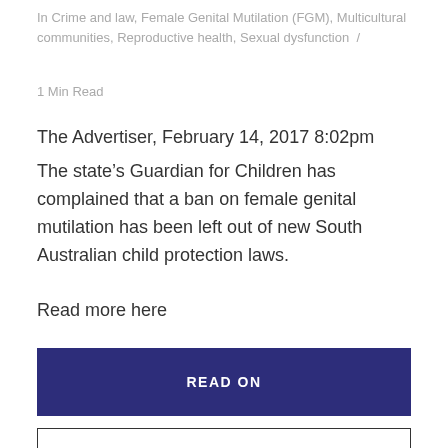In Crime and law, Female Genital Mutilation (FGM), Multicultural communities, Reproductive health, Sexual dysfunction  /
1 Min Read
The Advertiser, February 14, 2017 8:02pm
The state’s Guardian for Children has complained that a ban on female genital mutilation has been left out of new South Australian child protection laws.
Read more here
READ ON
☐ READ LATER